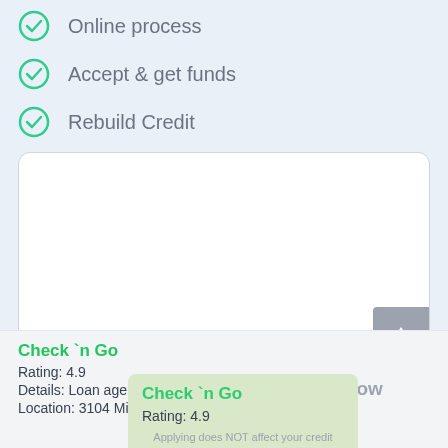Online process
Accept & get funds
Rebuild Credit
[Figure (other): White upload/input box with grey upload arrow button in bottom right corner]
[Figure (infographic): Green overlay card showing Check n Go with Apply Now button, rating 4.9, and note about no credit check]
Check `n Go
Rating: 4.9
Details: Loan agency
Location: 3104 Milan Rd, Sandusky, OH